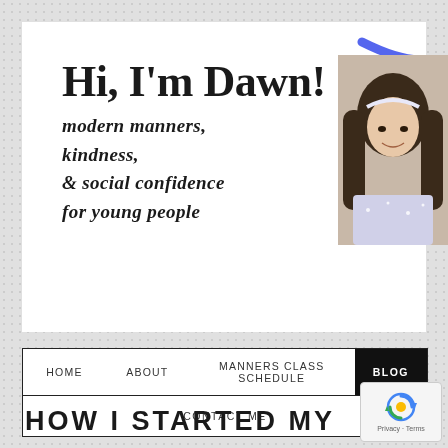Hi, I'm Dawn!
modern manners,
kindness,
& social confidence
for young people
[Figure (photo): Portrait photo of a young woman with long dark hair, smiling, wearing a sparkly outfit. A blue curved arc decorates the upper right area near the photo.]
HOME   ABOUT   MANNERS CLASS SCHEDULE   BLOG   CONTACT ME
HOW I STARTED MY